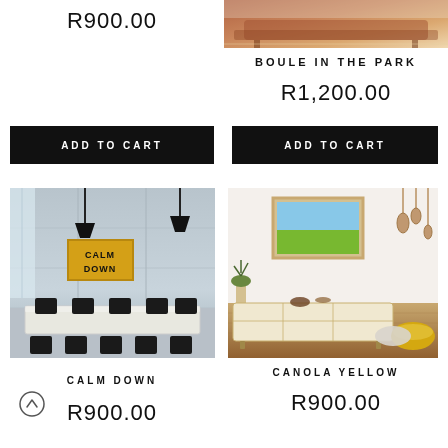R900.00
[Figure (photo): Product photo — furniture with brown/rust tones]
BOULE IN THE PARK
R1,200.00
ADD TO CART
ADD TO CART
[Figure (photo): Conference room with industrial concrete walls, black pendant lamps, CALM DOWN yellow sign on wall, long conference table with black office chairs]
[Figure (photo): Modern living room with sideboard, framed landscape photo on wall, pendant lights, plant, and yellow pouf]
CALM DOWN
CANOLA YELLOW
R900.00
R900.00